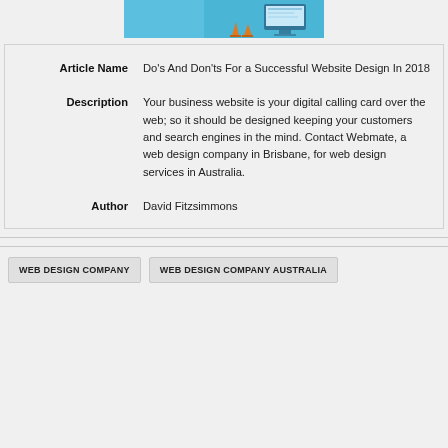[Figure (illustration): Partial top portion of a web design illustration showing a blue background with a computer monitor graphic and orange traffic cones]
| Article Name | Do's And Don'ts For a Successful Website Design In 2018 |
| Description | Your business website is your digital calling card over the web; so it should be designed keeping your customers and search engines in the mind. Contact Webmate, a web design company in Brisbane, for web design services in Australia. |
| Author | David Fitzsimmons |
WEB DESIGN COMPANY
WEB DESIGN COMPANY AUSTRALIA